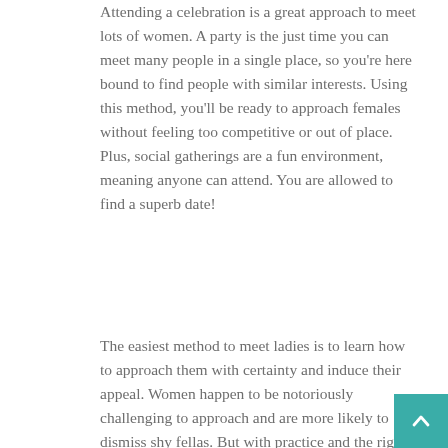Attending a celebration is a great approach to meet lots of women. A party is the just time you can meet many people in a single place, so you're here bound to find people with similar interests. Using this method, you'll be ready to approach females without feeling too competitive or out of place. Plus, social gatherings are a fun environment, meaning anyone can attend. You are allowed to find a superb date!
The easiest method to meet ladies is to learn how to approach them with certainty and induce their appeal. Women happen to be notoriously challenging to approach and are more likely to dismiss shy fellas. But with practice and the right attitude, you can bring any woman and make her feel special. Just remember that self confidence will always captivate women. If you don't look confident, you